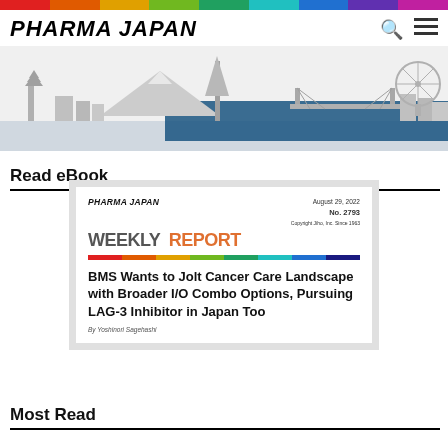PHARMA JAPAN
[Figure (illustration): Tokyo skyline silhouette with Eiffel Tower-style tower, pagoda, bridge, Ferris wheel in gray tones with blue banner overlay]
Read eBook
[Figure (screenshot): Pharma Japan Weekly Report eBook cover, August 29, 2022, No. 2793, with article title: BMS Wants to Jolt Cancer Care Landscape with Broader I/O Combo Options, Pursuing LAG-3 Inhibitor in Japan Too, By Yoshinori Sagehashi]
Most Read